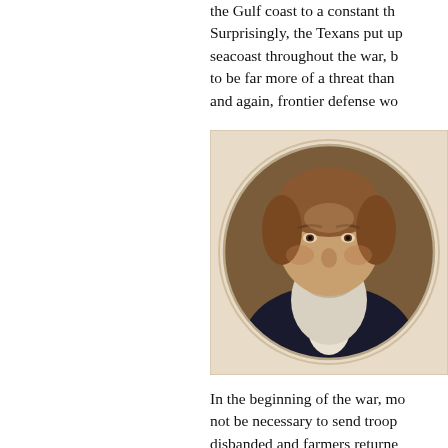the Gulf coast to a constant th... Surprisingly, the Texans put up... seacoast throughout the war, b... to be far more of a threat than... and again, frontier defense wo...
[Figure (photo): Oval portrait painting of an older man with a white beard and brown hair, wearing a dark suit and bow tie, set against a brown background within an oval frame on a light beige square.]
In the beginning of the war, mo... not be necessary to send troo... disbanded and farmers returne...